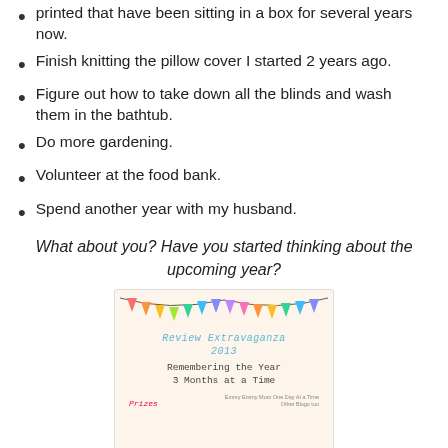printed that have been sitting in a box for several years now.
Finish knitting the pillow cover I started 2 years ago.
Figure out how to take down all the blinds and wash them in the bathtub.
Do more gardening.
Volunteer at the food bank.
Spend another year with my husband.
What about you? Have you started thinking about the upcoming year?
[Figure (illustration): Decorative card image titled 'Review Extravaganza 2013 - Remembering the Year 3 Months at a Time' with colorful bunting triangles at the top and text 'Prizes' and small subtext at the bottom.]